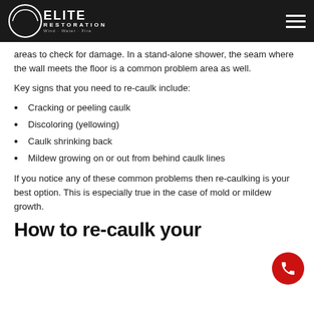Elite Restoration - Wind Water Fire
areas to check for damage. In a stand-alone shower, the seam where the wall meets the floor is a common problem area as well.
Key signs that you need to re-caulk include:
Cracking or peeling caulk
Discoloring (yellowing)
Caulk shrinking back
Mildew growing on or out from behind caulk lines
If you notice any of these common problems then re-caulking is your best option. This is especially true in the case of mold or mildew growth.
How to re-caulk your